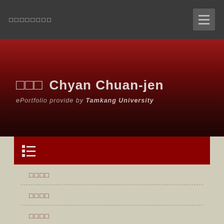□□□□□□□□
□□□ Chyan Chuan-jen
ePortfolio provide by Tamkang University
[Figure (infographic): Red menu bar with list icon (three lines icon)]
□□□□
□□□□
□□□□
□□
□□□□